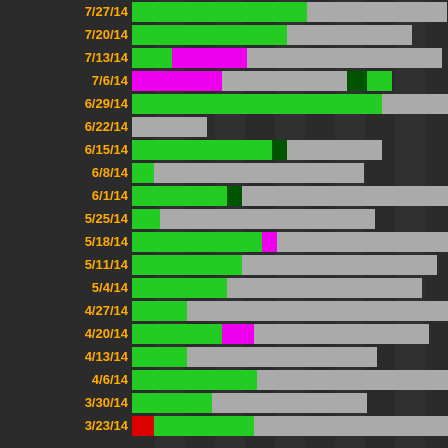[Figure (stacked-bar-chart): Horizontal stacked bar chart with dark background. Each row corresponds to a date label in orange-yellow. Bars are composed of green, magenta/pink, and gray segments. Some rows have small dark-green or red segments.]